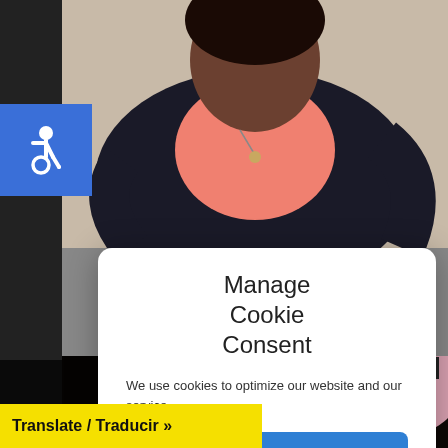[Figure (photo): Screenshot of a website showing a woman in a pink top and dark cardigan in the background, with a cookie consent modal overlay and a translation bar at the bottom. Accessibility icon in the top left. A second photo shows a young person's face at the bottom.]
Manage Cookie Consent
We use cookies to optimize our website and our service.
Accept
Cookie Policy
Translate / Traducir »